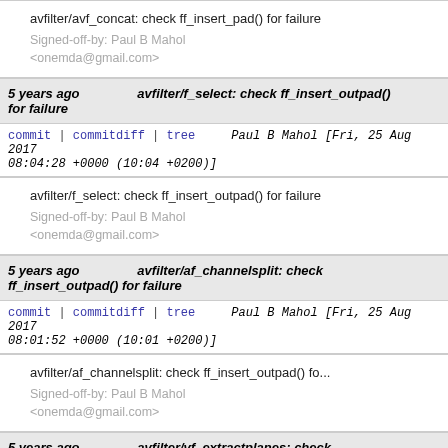avfilter/avf_concat: check ff_insert_pad() for failure

Signed-off-by: Paul B Mahol <onemda@gmail.com>
5 years ago  avfilter/f_select: check ff_insert_outpad() for failure
commit | commitdiff | tree   Paul B Mahol [Fri, 25 Aug 2017 08:04:28 +0000 (10:04 +0200)]
avfilter/f_select: check ff_insert_outpad() for failure

Signed-off-by: Paul B Mahol <onemda@gmail.com>
5 years ago  avfilter/af_channelsplit: check ff_insert_outpad() for failure
commit | commitdiff | tree   Paul B Mahol [Fri, 25 Aug 2017 08:01:52 +0000 (10:01 +0200)]
avfilter/af_channelsplit: check ff_insert_outpad() fo...

Signed-off-by: Paul B Mahol <onemda@gmail.com>
5 years ago  avfilter/vf_extractplanes: check ff_insert_outpad() for failure